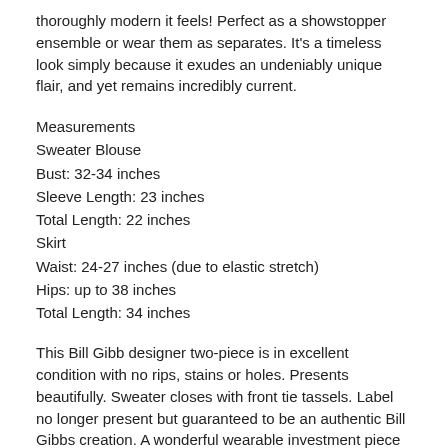thoroughly modern it feels! Perfect as a showstopper ensemble or wear them as separates. It's a timeless look simply because it exudes an undeniably unique flair, and yet remains incredibly current.
Measurements
Sweater Blouse
Bust: 32-34 inches
Sleeve Length: 23 inches
Total Length: 22 inches
Skirt
Waist: 24-27 inches (due to elastic stretch)
Hips: up to 38 inches
Total Length: 34 inches
This Bill Gibb designer two-piece is in excellent condition with no rips, stains or holes. Presents beautifully. Sweater closes with front tie tassels. Label no longer present but guaranteed to be an authentic Bill Gibbs creation. A wonderful wearable investment piece that will only continue to increase in value.